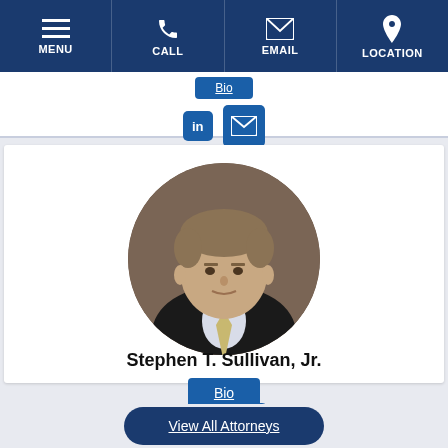MENU | CALL | EMAIL | LOCATION
[Figure (photo): Partial attorney card from previous listing showing Bio button, LinkedIn icon, and email icon]
[Figure (photo): Circular headshot portrait of Stephen T. Sullivan, Jr., a man in a dark suit and tie against a brown background]
Stephen T. Sullivan, Jr.
Bio
[Figure (other): LinkedIn icon button]
[Figure (other): Email icon button]
View All Attorneys